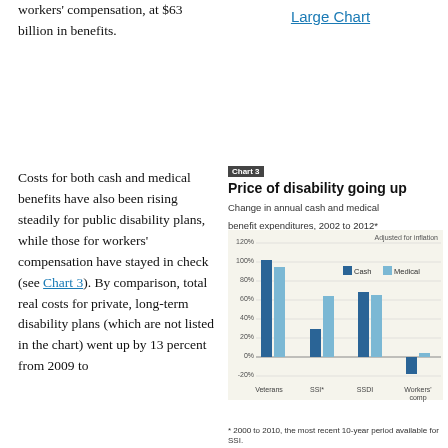workers' compensation, at $63 billion in benefits.
Large Chart
Costs for both cash and medical benefits have also been rising steadily for public disability plans, while those for workers' compensation have stayed in check (see Chart 3). By comparison, total real costs for private, long-term disability plans (which are not listed in the chart) went up by 13 percent from 2009 to
[Figure (grouped-bar-chart): Price of disability going up]